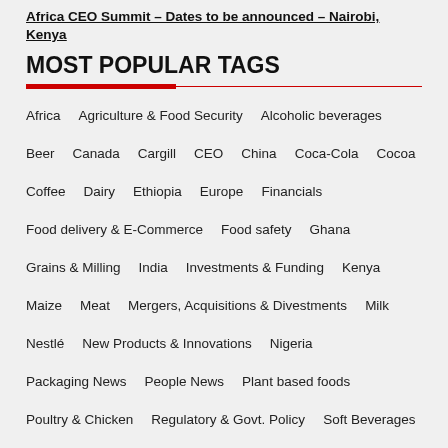Africa CEO Summit – Dates to be announced – Nairobi, Kenya
MOST POPULAR TAGS
Africa
Agriculture & Food Security
Alcoholic beverages
Beer
Canada
Cargill
CEO
China
Coca-Cola
Cocoa
Coffee
Dairy
Ethiopia
Europe
Financials
Food delivery & E-Commerce
Food safety
Ghana
Grains & Milling
India
Investments & Funding
Kenya
Maize
Meat
Mergers, Acquisitions & Divestments
Milk
Nestlé
New Products & Innovations
Nigeria
Packaging News
People News
Plant based foods
Poultry & Chicken
Regulatory & Govt. Policy
Soft Beverages